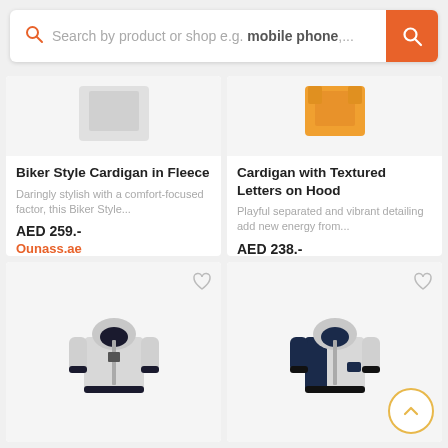[Figure (screenshot): Search bar with orange search icon on left and orange search button on right. Placeholder text: Search by product or shop e.g. mobile phone,...]
Biker Style Cardigan in Fleece
Daringly stylish with a comfort-focused factor, this Biker Style...
AED 259.-
Ounass.ae
Cardigan with Textured Letters on Hood
Playful separated and vibrant detailing add new energy from...
AED 238.-
Ounass.ae
[Figure (photo): Gray hooded zip-up jacket for kids]
[Figure (photo): Gray and navy blue hooded zip-up jacket for kids]